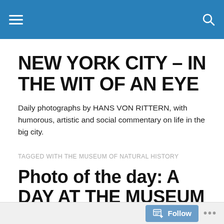NEW YORK CITY – IN THE WIT OF AN EYE
NEW YORK CITY – IN THE WIT OF AN EYE
Daily photographs by HANS VON RITTERN, with humorous, artistic and social commentary on life in the big city.
TAGGED WITH THE MUSEUM OF NATURAL HISTORY
Photo of the day: A DAY AT THE MUSEUM OF NATURAL HISTORY